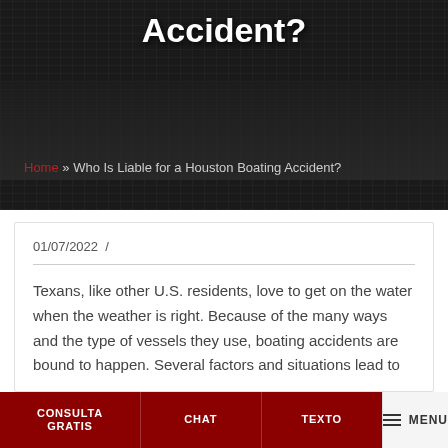Accident?
Home » Who Is Liable for a Houston Boating Accident?
01/07/2022  /
Texans, like other U.S. residents, love to get on the water when the weather is right. Because of the many ways and the type of vessels they use, boating accidents are bound to happen. Several factors and situations lead to
CONSULTA GRATIS  CHAT  TEXTO  MENU